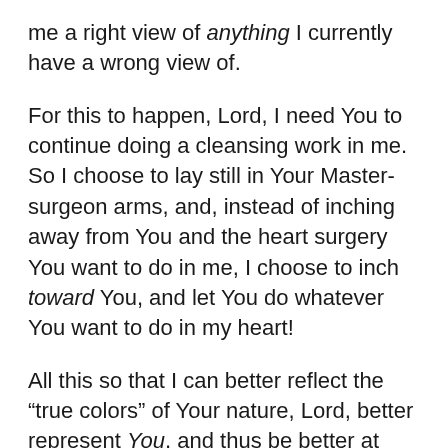me a right view of anything I currently have a wrong view of.
For this to happen, Lord, I need You to continue doing a cleansing work in me. So I choose to lay still in Your Master-surgeon arms, and, instead of inching away from You and the heart surgery You want to do in me, I choose to inch toward You, and let You do whatever You want to do in my heart!
All this so that I can better reflect the “true colors” of Your nature, Lord, better represent You, and thus be better at drawing people to You.